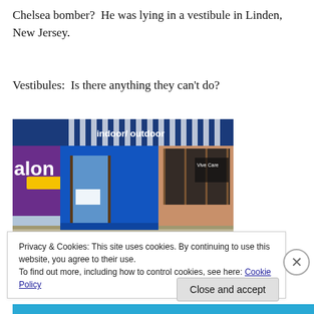Chelsea bomber?  He was lying in a vestibule in Linden, New Jersey.
Vestibules:  Is there anything they can't do?
[Figure (photo): Exterior photo of a storefront vestibule with a blue frame, striped awning reading 'indoor/outdoor', and peach/salmon lower facade. A salon sign is partially visible on the left.]
Privacy & Cookies: This site uses cookies. By continuing to use this website, you agree to their use.
To find out more, including how to control cookies, see here: Cookie Policy
Close and accept